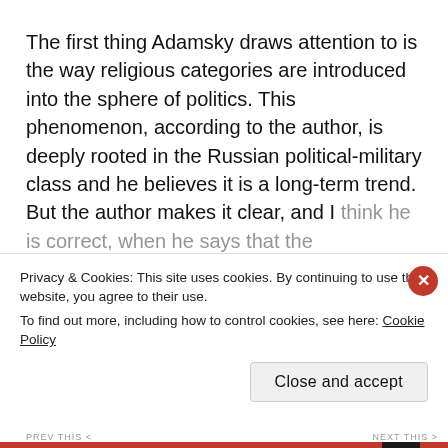The first thing Adamsky draws attention to is the way religious categories are introduced into the sphere of politics. This phenomenon, according to the author, is deeply rooted in the Russian political-military class and he believes it is a long-term trend. But the author makes it clear, and I think he is correct, when he says that the
Privacy & Cookies: This site uses cookies. By continuing to use this website, you agree to their use.
To find out more, including how to control cookies, see here: Cookie Policy
Close and accept